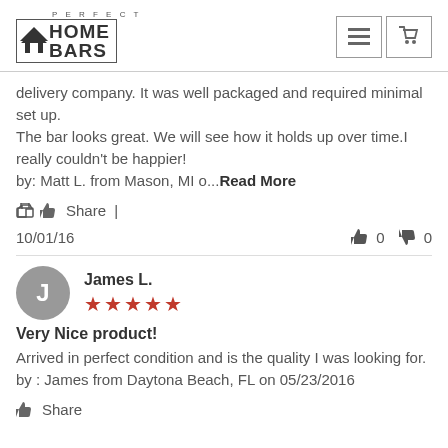PERFECT HOME BARS
delivery company. It was well packaged and required minimal set up. The bar looks great. We will see how it holds up over time.I really couldn't be happier! by: Matt L. from Mason, MI o...Read More
Share |
10/01/16  👍 0  👎 0
James L. ★★★★★
Very Nice product!
Arrived in perfect condition and is the quality I was looking for.
by : James from Daytona Beach, FL on 05/23/2016